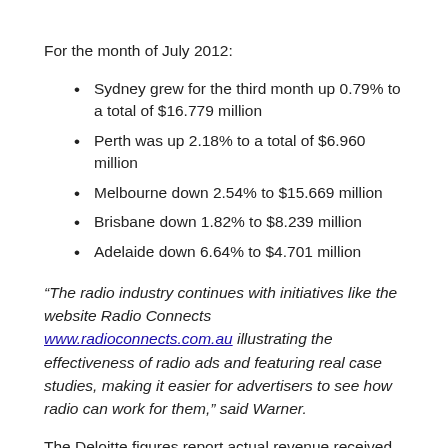For the month of July 2012:
Sydney grew for the third month up 0.79% to a total of $16.779 million
Perth was up 2.18% to a total of $6.960 million
Melbourne down 2.54% to $15.669 million
Brisbane down 1.82% to $8.239 million
Adelaide down 6.64% to $4.701 million
“The radio industry continues with initiatives like the website Radio Connects www.radioconnects.com.au illustrating the effectiveness of radio ads and featuring real case studies, making it easier for advertisers to see how radio can work for them,” said Warner.
The Deloitte figures report actual revenue received by metropolitan commercial radio stations for the calendar